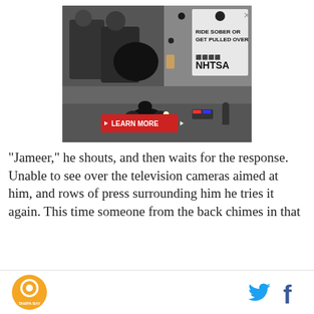[Figure (photo): NHTSA advertisement: 'RIDE SOBER OR GET PULLED OVER' with motorcycle riders and a police car scene, 'LEARN MORE' button in red, NHTSA logo]
"Jameer," he shouts, and then waits for the response. Unable to see over the television cameras aimed at him, and rows of press surrounding him he tries it again. This time someone from the back chimes in that
Tampa Bay logo | Twitter icon | Facebook icon